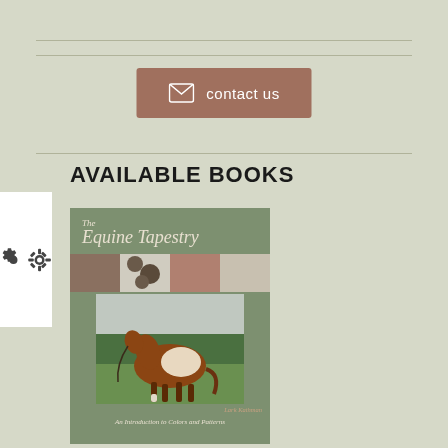[Figure (other): Contact us button with envelope icon on brownish-red background]
AVAILABLE BOOKS
[Figure (illustration): Book cover of 'The Equine Tapestry' by Lark Kathman - An Introduction to Colors and Patterns, showing a brown and white pinto horse on a green background with photo strips of horse coat patterns at top]
[Figure (other): Gear/settings icon panel on white background on left side]